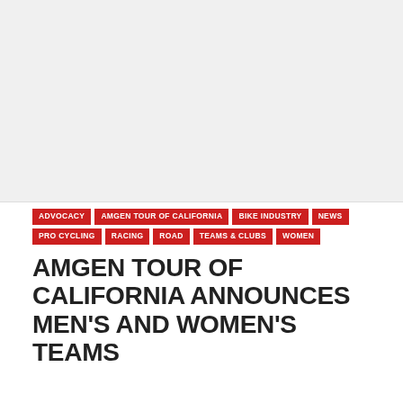[Figure (photo): Large header image area, appears mostly white/blank in this crop]
ADVOCACY
AMGEN TOUR OF CALIFORNIA
BIKE INDUSTRY
NEWS
PRO CYCLING
RACING
ROAD
TEAMS & CLUBS
WOMEN
AMGEN TOUR OF CALIFORNIA ANNOUNCES MEN'S AND WOMEN'S TEAMS